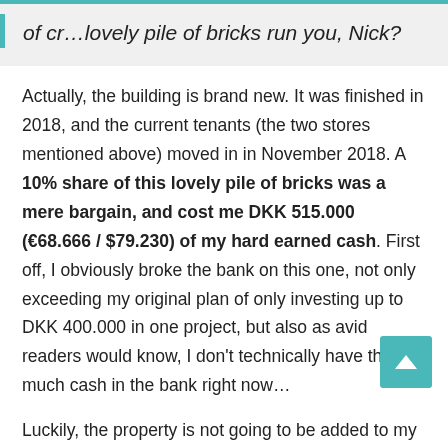of cr…lovely pile of bricks run you, Nick?
Actually, the building is brand new. It was finished in 2018, and the current tenants (the two stores mentioned above) moved in in November 2018. A 10% share of this lovely pile of bricks was a mere bargain, and cost me DKK 515.000 (€68.666 / $79.230) of my hard earned cash. First off, I obviously broke the bank on this one, not only exceeding my original plan of only investing up to DKK 400.000 in one project, but also as avid readers would know, I don't technically have that much cash in the bank right now…
Luckily, the property is not going to be added to my portfolio until the end of July (we've made a down